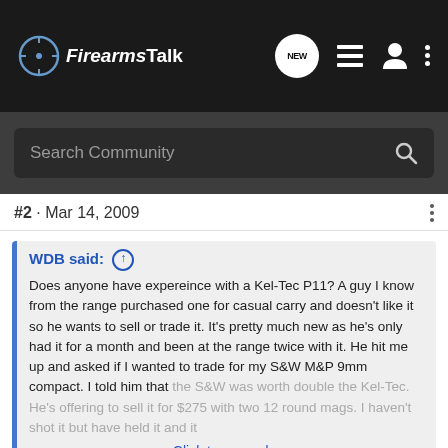FirearmsTalk
Search Community
#2 · Mar 14, 2009
WDB said: ↑
Does anyone have expereince with a Kel-Tec P11? A guy I know from the range purchased one for casual carry and doesn't like it so he wants to sell or trade it. It's pretty much new as he's only had it for a month and been at the range twice with it. He hit me up and asked if I wanted to trade for my S&W M&P 9mm compact. I told him that the S&W was worth double the Kel-Tec. He's offering to sell it for $275 with two 12 round mags. I haven't shot it but have held it and it
Click to expand...
"RUN WDB, RUN AWAY"! I have owned a P11, as well as the M&P9c and the Kel-tec PF-9 too. The PF-9 uses the same trigger system as the Kel-tec 380 and the trigger is ok..the P11 uses a different system and is AWFUL! The pull is over a mile